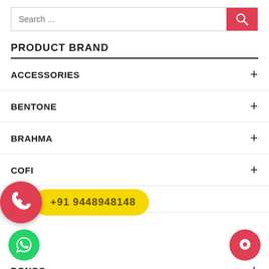[Figure (screenshot): Search bar with pink/red search button and magnifying glass icon]
PRODUCT BRAND
ACCESSORIES +
BENTONE +
BRAHMA +
COFI +
COMBO OFFERS +
DONGS +
ECOFLAM −
> ACCESSORIES −
Burner Control Panel
Burner Filter
[Figure (infographic): Call overlay with red phone circle button and yellow bubble showing +91 9448948148]
[Figure (logo): WhatsApp green circle icon bottom left]
[Figure (logo): Red chat circle icon bottom right]